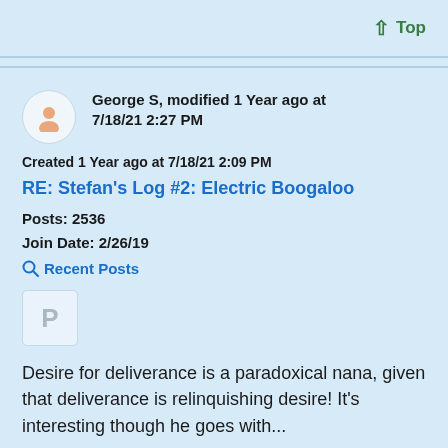Top
George S, modified 1 Year ago at 7/18/21 2:27 PM
Created 1 Year ago at 7/18/21 2:09 PM
RE: Stefan's Log #2: Electric Boogaloo
Posts: 2536
Join Date: 2/26/19
Recent Posts
Desire for deliverance is a paradoxical nana, given that deliverance is relinquishing desire! It's interesting though he goes with...